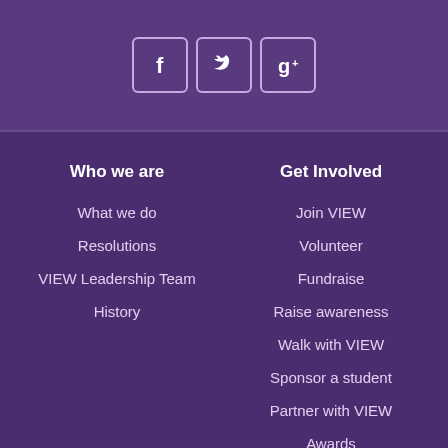[Figure (other): Social media icons: Facebook, Twitter, Google+ in rounded square borders]
Who we are
What we do
Resolutions
VIEW Leadership Team
History
Get Involved
Join VIEW
Volunteer
Fundraise
Raise awareness
Walk with VIEW
Sponsor a student
Partner with VIEW
Awards